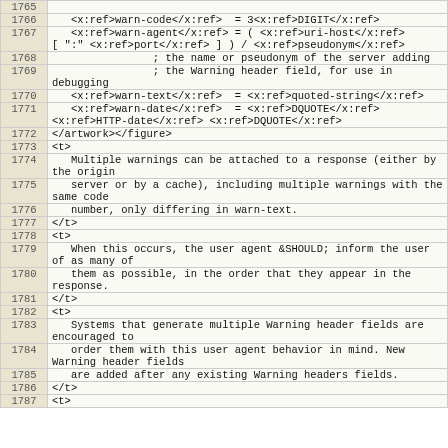| line | code |
| --- | --- |
| 1765 |  |
| 1766 |    <x:ref>warn-code</x:ref>  = 3<x:ref>DIGIT</x:ref> |
| 1767 |    <x:ref>warn-agent</x:ref> = ( <x:ref>uri-host</x:ref>
[ ":" <x:ref>port</x:ref> ] ) / <x:ref>pseudonym</x:ref> |
| 1768 |                 ; the name or pseudonym of the server adding |
| 1769 |                 ; the Warning header field, for use in debugging |
| 1770 |    <x:ref>warn-text</x:ref>  = <x:ref>quoted-string</x:ref> |
| 1771 |    <x:ref>warn-date</x:ref>  = <x:ref>DQUOTE</x:ref>
<x:ref>HTTP-date</x:ref> <x:ref>DQUOTE</x:ref> |
| 1772 | </artwork></figure> |
| 1773 | <t> |
| 1774 |    Multiple warnings can be attached to a response (either by the origin |
| 1775 |    server or by a cache), including multiple warnings with the same code |
| 1776 |    number, only differing in warn-text. |
| 1777 | </t> |
| 1778 | <t> |
| 1779 |    When this occurs, the user agent &SHOULD; inform the user of as many of |
| 1780 |    them as possible, in the order that they appear in the response. |
| 1781 | </t> |
| 1782 | <t> |
| 1783 |    Systems that generate multiple Warning header fields are encouraged to |
| 1784 |    order them with this user agent behavior in mind. New Warning header fields |
| 1785 |    are added after any existing Warning headers fields. |
| 1786 | </t> |
| 1787 | <t> |